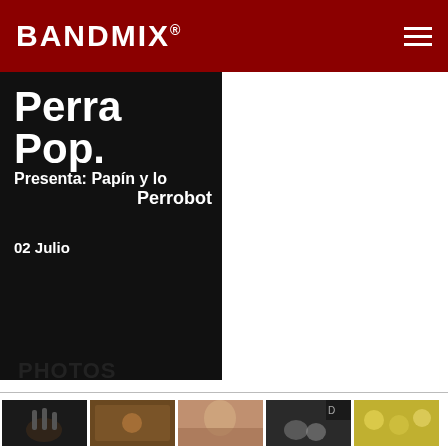BANDMIX®
[Figure (photo): Event poster on black background showing text: Perra Pop. Presenta: Papín y los Perrobot 02 Julio]
PHOTOS
[Figure (photo): Thumbnail photo 1: drummer in dark setting]
[Figure (photo): Thumbnail photo 2: musicians in warm-lit studio]
[Figure (photo): Thumbnail photo 3: close-up portrait with sunglasses]
[Figure (photo): Thumbnail photo 4: dark image with animals]
[Figure (photo): Thumbnail photo 5: yellow-green food/produce closeup]